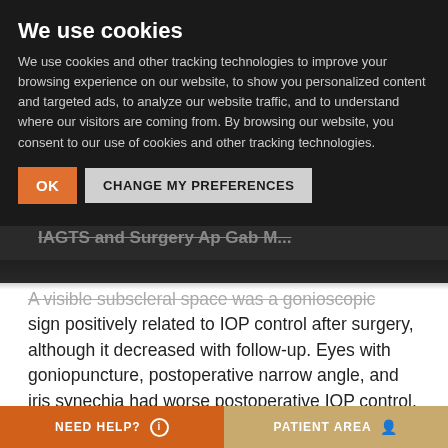We use cookies
We use cookies and other tracking technologies to improve your browsing experience on our website, to show you personalized content and targeted ads, to analyze our website traffic, and to understand where our visitors are coming from. By browsing our website, you consent to our use of cookies and other tracking technologies.
A visible subscleral space was a gonioscopic sign positively related to IOP control after surgery, although it decreased with follow-up. Eyes with goniopuncture, postoperative narrow angle, and iris synechia had worse postoperative IOP control. Although new vessels in TDM were a common finding after DS, the authors did not find any association with postoperative IOP.
NEED HELP? | PATIENT AREA